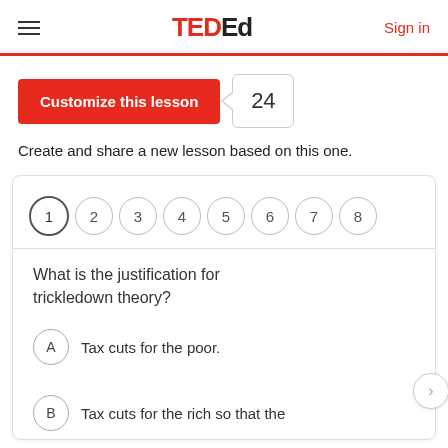TED Ed — Sign in
Customize this lesson  24
Create and share a new lesson based on this one.
[Figure (screenshot): Quiz card with numbered circles 1-8 and a multiple choice question: 'What is the justification for trickledown theory?' with answer options A: Tax cuts for the poor. B: Tax cuts for the rich so that the [cut off]]
What is the justification for trickledown theory?
A  Tax cuts for the poor.
B  Tax cuts for the rich so that the